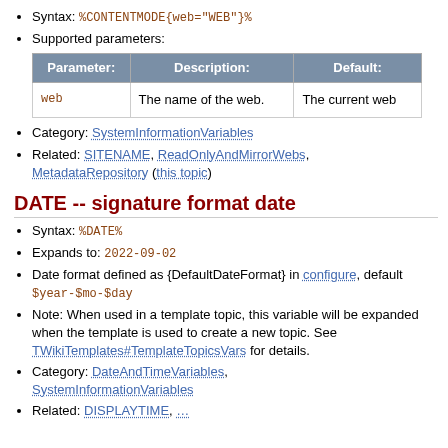Syntax: %CONTENTMODE{web="WEB"}%
Supported parameters:
| Parameter: | Description: | Default: |
| --- | --- | --- |
| web | The name of the web. | The current web |
Category: SystemInformationVariables
Related: SITENAME, ReadOnlyAndMirrorWebs, MetadataRepository (this topic)
DATE -- signature format date
Syntax: %DATE%
Expands to: 2022-09-02
Date format defined as {DefaultDateFormat} in configure, default $year-$mo-$day
Note: When used in a template topic, this variable will be expanded when the template is used to create a new topic. See TWikiTemplates#TemplateTopicsVars for details.
Category: DateAndTimeVariables, SystemInformationVariables
Related: DISPLAYTIME, ...